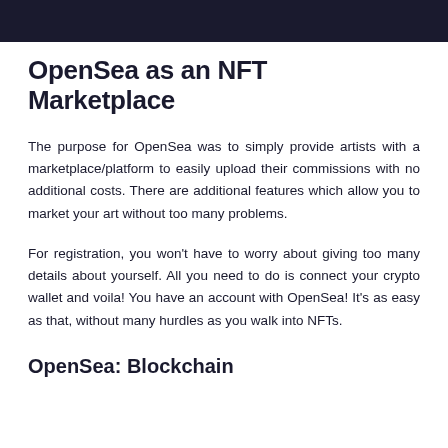OpenSea as an NFT Marketplace
The purpose for OpenSea was to simply provide artists with a marketplace/platform to easily upload their commissions with no additional costs. There are additional features which allow you to market your art without too many problems.
For registration, you won’t have to worry about giving too many details about yourself. All you need to do is connect your crypto wallet and voila! You have an account with OpenSea! It’s as easy as that, without many hurdles as you walk into NFTs.
OpenSea: Blockchain